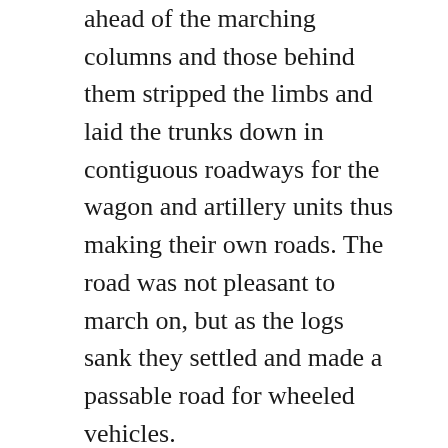ahead of the marching columns and those behind them stripped the limbs and laid the trunks down in contiguous roadways for the wagon and artillery units thus making their own roads. The road was not pleasant to march on, but as the logs sank they settled and made a passable road for wheeled vehicles.
Late 19th century of dress in polite company was that men wore a coat when out and usually with a vest for to appear in public in ones undershirt was improper. Army life being what it was has obviously trained these men not to bother much with polite decorum. Army regulation was the soldier was to always have his sack or frock coat on and a hat when out of doors (a fact of military life even today) and